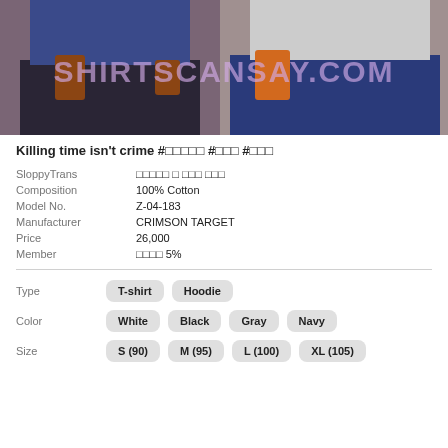[Figure (photo): Product photo showing two people from waist down wearing dark pants and casual tops with SHIRTSCANSAY.COM watermark overlay]
Killing time isn't crime #□□□□□ #□□□ #□□□
| SloppyTrans | □□□□□ □ □□□ □□□ |
| Composition | 100% Cotton |
| Model No. | Z-04-183 |
| Manufacturer | CRIMSON TARGET |
| Price | 26,000 |
| Member | □□□□ 5% |
| Type | T-shirt | Hoodie |
| Color | White | Black | Gray | Navy |
| Size | S (90) | M (95) | L (100) | XL (105) |